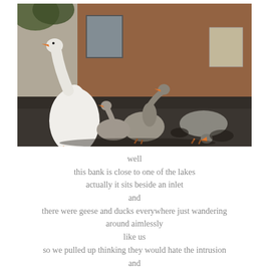[Figure (photo): Photograph of several geese and ducks on the ground near a brick building, with a large white goose in the foreground looking upward and several grey geese in the background.]
well
this bank is close to one of the lakes
actually it sits beside an inlet
and
there were geese and ducks everywhere just wandering
around aimlessly
like us
so we pulled up thinking they would hate the intrusion
and
instead they loved us
~
john stayed in the jeep laughing at me as I became really
good friends with